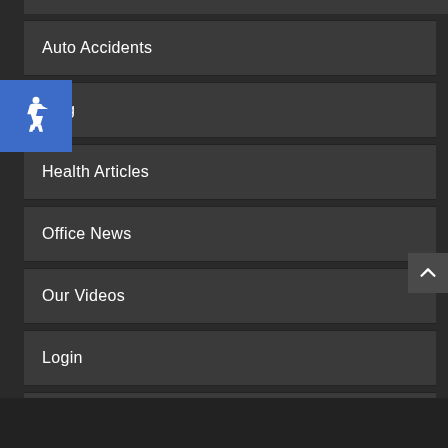Auto Accidents
Blog
Health Articles
Office News
Our Videos
Login
Register
[Figure (illustration): Blue accessibility/wheelchair icon button in top-left corner]
[Figure (illustration): Dark scroll-to-top button with upward caret arrow on right side]